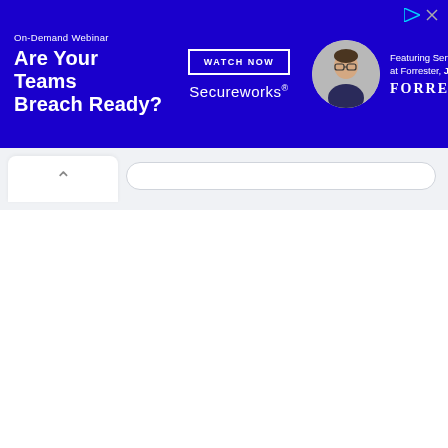[Figure (screenshot): Online advertisement banner with blue background. Left side shows text 'On-Demand Webinar' and headline 'Are Your Teams Breach Ready?'. Center shows 'WATCH NOW' button and Secureworks logo. Right side shows a circular photo of a person and text 'Featuring Senior Analyst at Forrester, Jess Burn' with Forrester logo.]
[Figure (screenshot): Browser UI elements: a tab with up-chevron arrow on white background, and a light gray address bar area below the advertisement banner.]